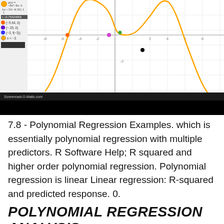[Figure (screenshot): Screenshot of a graphing calculator (Desmos-like) showing a downward-opening parabola y(x) = -5x^2 - 3x - 1 with labeled points (-5.64,0), (-35,0), (-3,f(-3)), and x=-3. Sidebar shows equations and coordinates. Screencast-O-Matic.com watermark visible at bottom of the graph area.]
7.8 - Polynomial Regression Examples. which is essentially polynomial regression with multiple predictors. R Software Help; R squared and higher order polynomial regression. Polynomial regression is linear Linear regression: R-squared and predicted response. 0.
POLYNOMIAL REGRESSION ANALYSIS